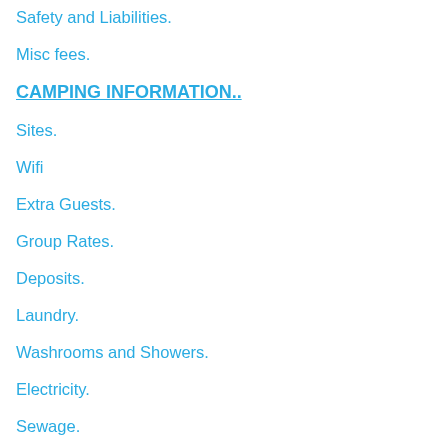Safety and Liabilities.
Misc fees.
CAMPING INFORMATION..
Sites.
Wifi
Extra Guests.
Group Rates.
Deposits.
Laundry.
Washrooms and Showers.
Electricity.
Sewage.
Water Pressure and Quality.